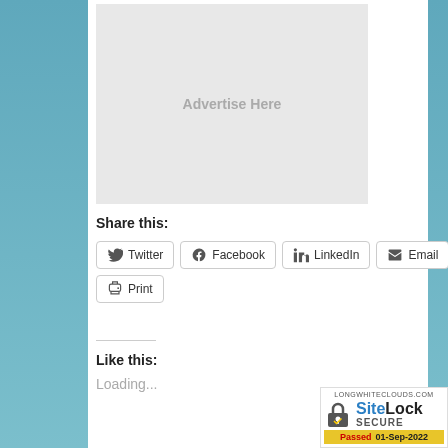[Figure (other): Advertisement placeholder box with light gray background and text 'Advertise Here']
Share this:
Twitter
Facebook
LinkedIn
Email
Print
Like this:
Loading...
[Figure (logo): SiteLock SECURE badge. LONGWHITECLOUDS.COM. Passed 01-Sep-2022]